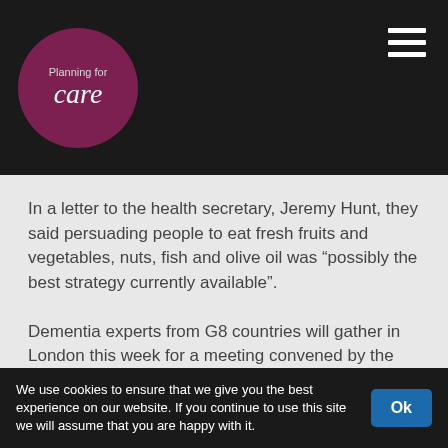Planning for Care
In a letter to the health secretary, Jeremy Hunt, they said persuading people to eat fresh fruits and vegetables, nuts, fish and olive oil was “possibly the best strategy currently available”.
Dementia experts from G8 countries will gather in London this week for a meeting convened by the prime minister, David Cameron, as part of the UK’s presidency of the group of leading economies.
Hunt has called dementia a health and care “timebomb” with the number of people living with the condition expected to triple worldwide to 135 million by 2050, according to a recent report.
We use cookies to ensure that we give you the best experience on our website. If you continue to use this site we will assume that you are happy with it. Ok